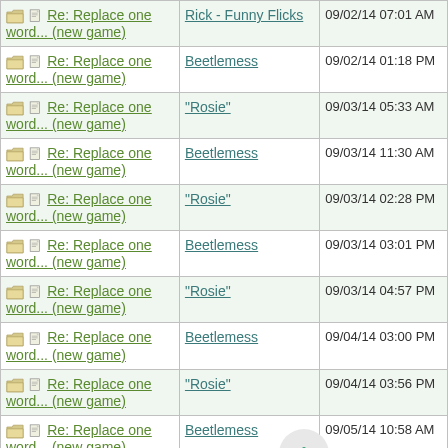| Subject | Author | Date |
| --- | --- | --- |
| Re: Replace one word... (new game) | Rick - Funny Flicks | 09/02/14 07:01 AM |
| Re: Replace one word... (new game) | Beetlemess | 09/02/14 01:18 PM |
| Re: Replace one word... (new game) | "Rosie" | 09/03/14 05:33 AM |
| Re: Replace one word... (new game) | Beetlemess | 09/03/14 11:30 AM |
| Re: Replace one word... (new game) | "Rosie" | 09/03/14 02:28 PM |
| Re: Replace one word... (new game) | Beetlemess | 09/03/14 03:01 PM |
| Re: Replace one word... (new game) | "Rosie" | 09/03/14 04:57 PM |
| Re: Replace one word... (new game) | Beetlemess | 09/04/14 03:00 PM |
| Re: Replace one word... (new game) | "Rosie" | 09/04/14 03:56 PM |
| Re: Replace one word... (new game) | Beetlemess | 09/05/14 10:58 AM |
| Re: Longstreet Wino... |  | 09/05/14 12:51 PM |